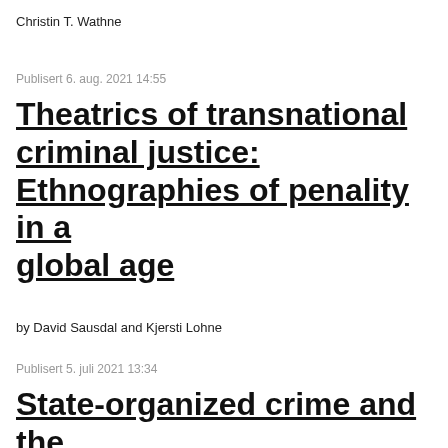Christin T. Wathne
Publisert 6. aug. 2021 14:55
Theatrics of transnational criminal justice: Ethnographies of penality in a global age
by David Sausdal and Kjersti Lohne
Publisert 5. juli 2021 13:34
State-organized crime and the killing of wolves in Norway